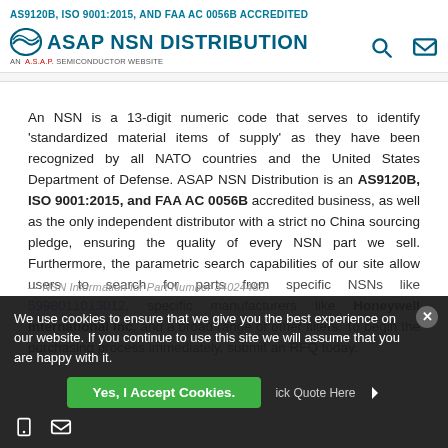AS9120B, ISO 9001:2015, AND FAA AC 0056B ACCREDITED
ASAP NSN DISTRIBUTION — AN A.S.A.P. SEMICONDUCTOR WEBSITE
An NSN is a 13-digit numeric code that serves to identify 'standardized material items of supply' as they have been recognized by all NATO countries and the United States Department of Defense. ASAP NSN Distribution is an AS9120B, ISO 9001:2015, and FAA AC 0056B accredited business, as well as the only independent distributor with a strict no China sourcing pledge, ensuring the quality of every NSN part we sell. Furthermore, the parametric search capabilities of our site allow users to search for parts from specific NSNs like 5998011013012, specific manufacturers like Honeywell International Inc, and a broad range of other filters. To begin the purchasing process immediately, submit an RFQ today.
We use cookies to ensure that we give you the best experience on our website. If you continue to use this site we will assume that you are happy with it.
Yes, I Accept Cookies.